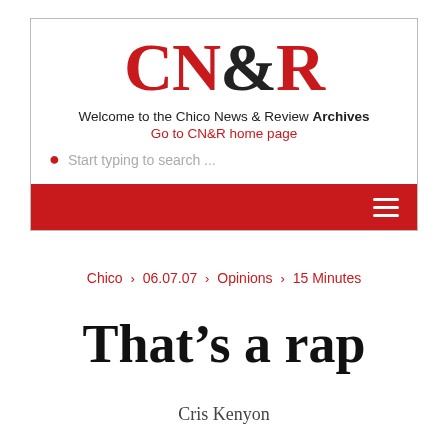[Figure (logo): CN&R logo with red CN and R, black ampersand, serif font, large display text]
Welcome to the Chico News & Review Archives
Go to CN&R home page
Start typing to search ...
Chico › 06.07.07 › Opinions › 15 Minutes
That's a rap
Cris Kenyon